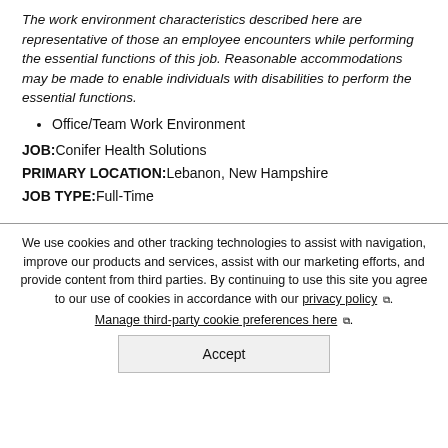The work environment characteristics described here are representative of those an employee encounters while performing the essential functions of this job. Reasonable accommodations may be made to enable individuals with disabilities to perform the essential functions.
Office/Team Work Environment
JOB: Conifer Health Solutions
PRIMARY LOCATION: Lebanon, New Hampshire
JOB TYPE: Full-Time
We use cookies and other tracking technologies to assist with navigation, improve our products and services, assist with our marketing efforts, and provide content from third parties. By continuing to use this site you agree to our use of cookies in accordance with our privacy policy. Manage third-party cookie preferences here.